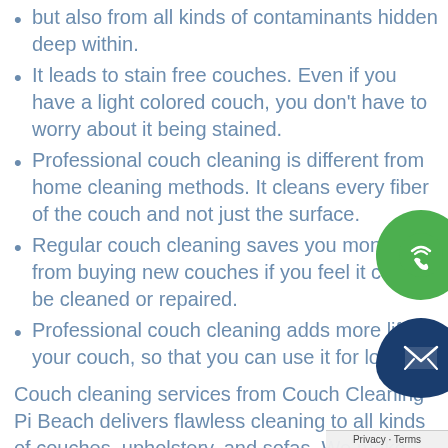but also from all kinds of contaminants hidden deep within.
It leads to stain free couches. Even if you have a light colored couch, you don't have to worry about it being stained.
Professional couch cleaning is different from home cleaning methods. It cleans every fiber of the couch and not just the surface.
Regular couch cleaning saves you money from buying new couches if you feel it cannot be cleaned or repaired.
Professional couch cleaning adds more life your couch, so that you can use it for longer.
Couch cleaning services from Couch Cleaning Pi Beach delivers flawless cleaning to all kinds of couches, upholstery, and sofas. We make your couches cleaner, brighter, fresher, and fragrantly
[Figure (illustration): Green circular phone call icon button floating on right side]
[Figure (illustration): Dark blue email/envelope icon button floating on right side]
Privacy · Terms